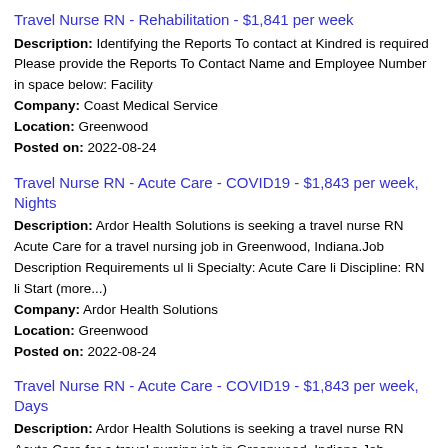Travel Nurse RN - Rehabilitation - $1,841 per week
Description: Identifying the Reports To contact at Kindred is required Please provide the Reports To Contact Name and Employee Number in space below: Facility
Company: Coast Medical Service
Location: Greenwood
Posted on: 2022-08-24
Travel Nurse RN - Acute Care - COVID19 - $1,843 per week, Nights
Description: Ardor Health Solutions is seeking a travel nurse RN Acute Care for a travel nursing job in Greenwood, Indiana.Job Description Requirements ul li Specialty: Acute Care li Discipline: RN li Start (more...)
Company: Ardor Health Solutions
Location: Greenwood
Posted on: 2022-08-24
Travel Nurse RN - Acute Care - COVID19 - $1,843 per week, Days
Description: Ardor Health Solutions is seeking a travel nurse RN Acute Care for a travel nursing job in Greenwood, Indiana.Job Description Requirements ul li Specialty: Acute Care li Discipline: RN li Start (more...)
Company: Ardor Health Solutions
Location: Greenwood